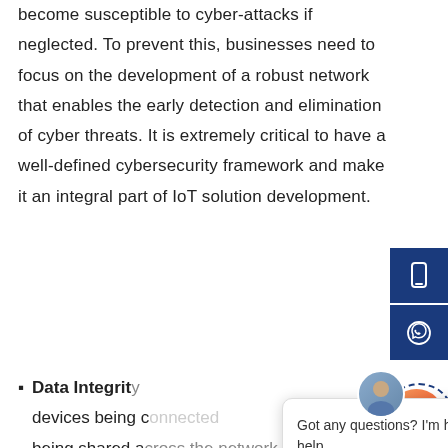become susceptible to cyber-attacks if neglected. To prevent this, businesses need to focus on the development of a robust network that enables the early detection and elimination of cyber threats. It is extremely critical to have a well-defined cybersecurity framework and make it an integral part of IoT solution development.
Data Integrity — devices being connected... being shared across the network, there is a high probability of data being manipulated. Inaccurate data results in inaccurate monitoring and
[Figure (screenshot): Chat popup widget with avatar, close button, and message: Got any questions? I'm happy to help. Also shows mobile and WhatsApp side buttons, and an orange chat widget button.]